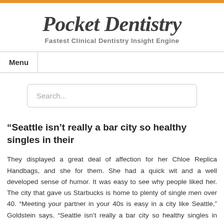Pocket Dentistry
Fastest Clinical Dentistry Insight Engine
Menu
Search...
“Seattle isn’t really a bar city so healthy singles in their
They displayed a great deal of affection for her Chloe Replica Handbags, and she for them. She had a quick wit and a well developed sense of humor. It was easy to see why people liked her. The city that gave us Starbucks is home to plenty of single men over 40. “Meeting your partner in your 40s is easy in a city like Seattle,” Goldstein says. “Seattle isn’t really a bar city so healthy singles in their 40s tend to meet at farmer’s markets while shoppi…